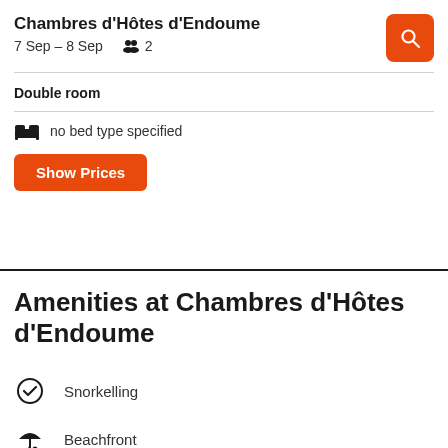Chambres d'Hôtes d'Endoume
7 Sep – 8 Sep   👥 2
Double room
no bed type specified
Show Prices
Amenities at Chambres d'Hôtes d'Endoume
Snorkelling
Beachfront